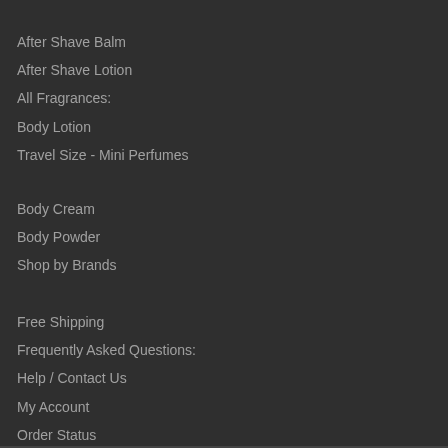After Shave Balm
After Shave Lotion
All Fragrances:
Body Lotion
Travel Size - Mini Perfumes
Body Cream
Body Powder
Shop by Brands
Free Shipping
Frequently Asked Questions:
Help / Contact Us
My Account
Order Status
Our Guarantee